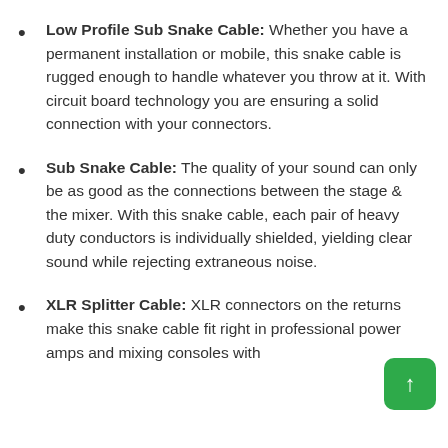Low Profile Sub Snake Cable: Whether you have a permanent installation or mobile, this snake cable is rugged enough to handle whatever you throw at it. With circuit board technology you are ensuring a solid connection with your connectors.
Sub Snake Cable: The quality of your sound can only be as good as the connections between the stage & the mixer. With this snake cable, each pair of heavy duty conductors is individually shielded, yielding clear sound while rejecting extraneous noise.
XLR Splitter Cable: XLR connectors on the returns make this snake cable fit right in professional power amps and mixing consoles without the need for any extra converters or adapters.